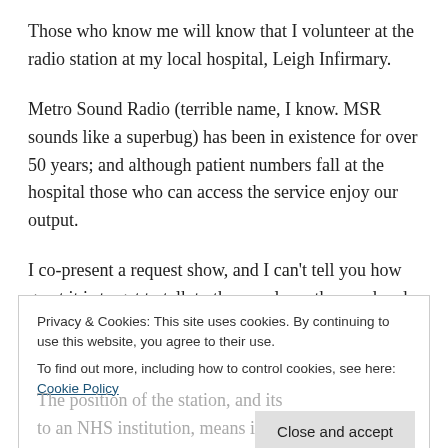Those who know me will know that I volunteer at the radio station at my local hospital, Leigh Infirmary.
Metro Sound Radio (terrible name, I know. MSR sounds like a superbug) has been in existence for over 50 years; and although patient numbers fall at the hospital those who can access the service enjoy our output.
I co-present a request show, and I can't tell you how great it is to get to talk to the people on the ward and bring a bit of
Privacy & Cookies: This site uses cookies. By continuing to use this website, you agree to their use.
To find out more, including how to control cookies, see here: Cookie Policy
to rely on volunteer subscriptions and fundraising to pay the